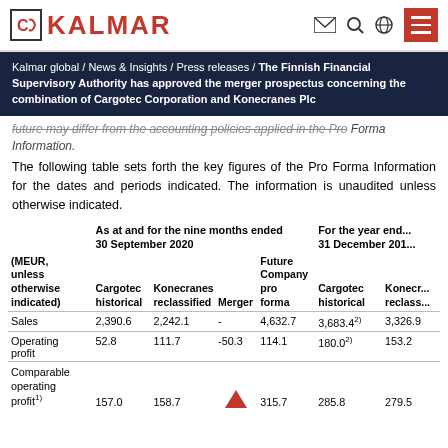Kalmar global / News & Insights / Press releases / The Finnish Financial Supervisory Authority has approved the merger prospectus concerning the combination of Cargotec Corporation and Konecranes Plc
future may differ from the accounting policies applied in the Pro Forma Information.
The following table sets forth the key figures of the Pro Forma Information for the dates and periods indicated. The information is unaudited unless otherwise indicated.
| (MEUR, unless otherwise indicated) | Cargotec historical | Konecranes reclassified | Merger | Future Company pro forma | Cargotec historical | Konecranes reclass... |
| --- | --- | --- | --- | --- | --- | --- |
| Sales | 2,390.6 | 2,242.1 | - | 4,632.7 | 3,683.4²⧉ | 3,326.9 |
| Operating profit | 52.8 | 111.7 | -50.3 | 114.1 | 180.0²⧉ | 153.2 |
| Comparable operating profit¹⧉ | 157.0 | 158.7 | ▲ | 315.7 | 285.8 | 279.5 |